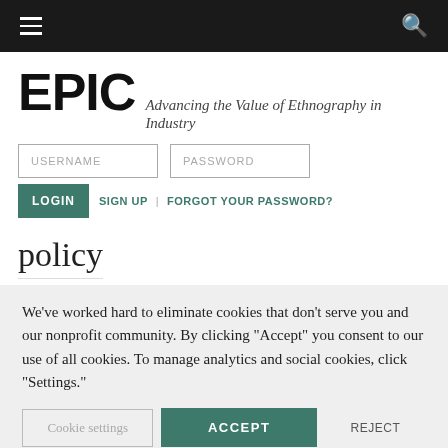Navigation bar with hamburger menu and search icon
EPIC Advancing the Value of Ethnography in Industry
USERNAME | PASSWORD
LOGIN   SIGN UP  |  FORGOT YOUR PASSWORD?
policy
We've worked hard to eliminate cookies that don't serve you and our nonprofit community. By clicking "Accept" you consent to our use of all cookies. To manage analytics and social cookies, click "Settings."
Cookie settings   ACCEPT   REJECT